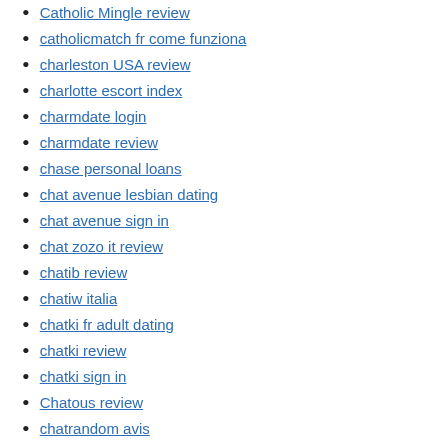Catholic Mingle review
catholicmatch fr come funziona
charleston USA review
charlotte escort index
charmdate login
charmdate review
chase personal loans
chat avenue lesbian dating
chat avenue sign in
chat zozo it review
chatib review
chatiw italia
chatki fr adult dating
chatki review
chatki sign in
Chatous review
chatrandom avis
chatspin mobile site
chatstep dating
chatstep espa?a
chattanooga escort review
cheap payday loans
check n go payday loans
chinalovecupid review
chinese dating
chinese mail order brides